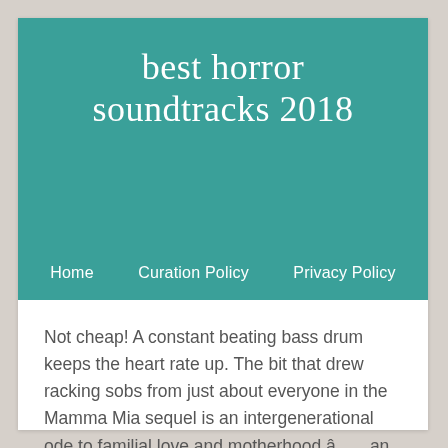best horror soundtracks 2018
Home  Curation Policy  Privacy Policy
Not cheap! A constant beating bass drum keeps the heart rate up. The bit that drew racking sobs from just about everyone in the Mamma Mia sequel is an intergenerational ode to familial love and motherhood â an ABBA all-timer, given gorgeous new context. The soundtrack was first released in the US is 1983 and received a much-